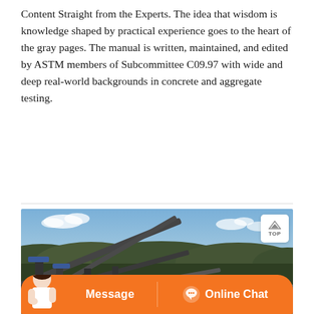Content Straight from the Experts. The idea that wisdom is knowledge shaped by practical experience goes to the heart of the gray pages. The manual is written, maintained, and edited by ASTM members of Subcommittee C09.97 with wide and deep real-world backgrounds in concrete and aggregate testing.
[Figure (photo): Outdoor industrial aggregate/concrete testing equipment — large conveyor belts and processing machinery set against a treeline and blue sky, with a TOP navigation button overlay and an orange Message/Online Chat bar at the bottom.]